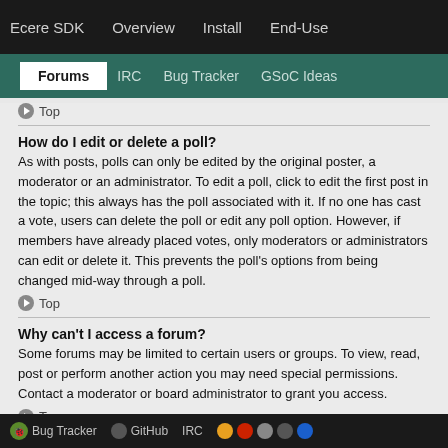Ecere SDK  Overview  Install  End-Use
Forums  IRC  Bug Tracker  GSoC Ideas
Top
How do I edit or delete a poll?
As with posts, polls can only be edited by the original poster, a moderator or an administrator. To edit a poll, click to edit the first post in the topic; this always has the poll associated with it. If no one has cast a vote, users can delete the poll or edit any poll option. However, if members have already placed votes, only moderators or administrators can edit or delete it. This prevents the poll's options from being changed mid-way through a poll.
Top
Why can't I access a forum?
Some forums may be limited to certain users or groups. To view, read, post or perform another action you may need special permissions. Contact a moderator or board administrator to grant you access.
Top
Bug Tracker  GitHub  IRC